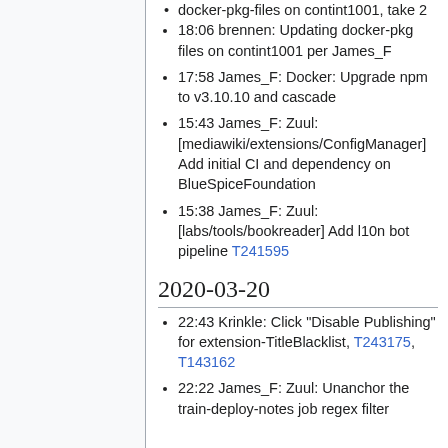docker-pkg-files on contint1001, take 2
18:06 brennen: Updating docker-pkg files on contint1001 per James_F
17:58 James_F: Docker: Upgrade npm to v3.10.10 and cascade
15:43 James_F: Zuul: [mediawiki/extensions/ConfigManager] Add initial CI and dependency on BlueSpiceFoundation
15:38 James_F: Zuul: [labs/tools/bookreader] Add l10n bot pipeline T241595
2020-03-20
22:43 Krinkle: Click "Disable Publishing" for extension-TitleBlacklist, T243175, T143162
22:22 James_F: Zuul: Unanchor the train-deploy-notes job regex filter